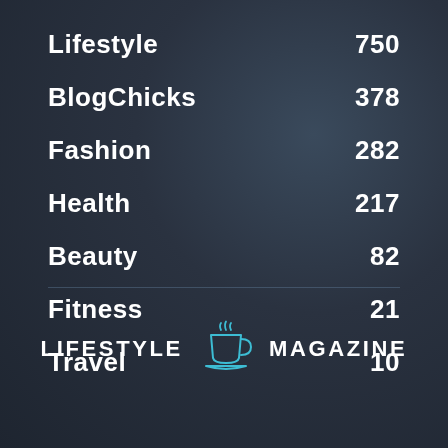Lifestyle  750
BlogChicks  378
Fashion  282
Health  217
Beauty  82
Fitness  21
Travel  10
[Figure (logo): Lifestyle Magazine logo with coffee cup icon in teal/cyan outline style. Text reads LIFESTYLE MAGAZINE in bold uppercase white letters with a teal coffee cup icon between the words.]